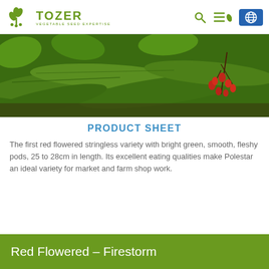TOZER VEGETABLE SEED EXPERTISE
[Figure (photo): Close-up of large flat green runner bean pods with red flowers and green leaves in the background]
PRODUCT SHEET
The first red flowered stringless variety with bright green, smooth, fleshy pods, 25 to 28cm in length. Its excellent eating qualities make Polestar an ideal variety for market and farm shop work.
Red Flowered – Firestorm